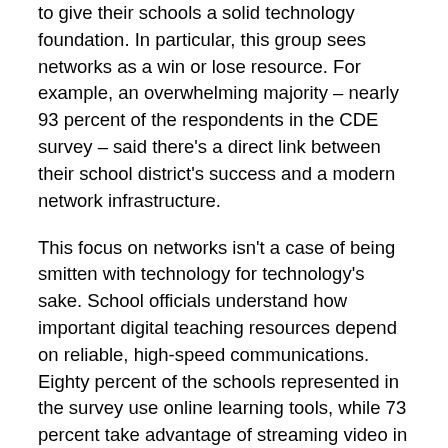to give their schools a solid technology foundation. In particular, this group sees networks as a win or lose resource. For example, an overwhelming majority – nearly 93 percent of the respondents in the CDE survey – said there's a direct link between their school district's success and a modern network infrastructure.
This focus on networks isn't a case of being smitten with technology for technology's sake. School officials understand how important digital teaching resources depend on reliable, high-speed communications. Eighty percent of the schools represented in the survey use online learning tools, while 73 percent take advantage of streaming video in their classrooms. Sixty-two percent offer bring-your-own-device (BYOD) or 1:1 computing initiatives.
The ability to...